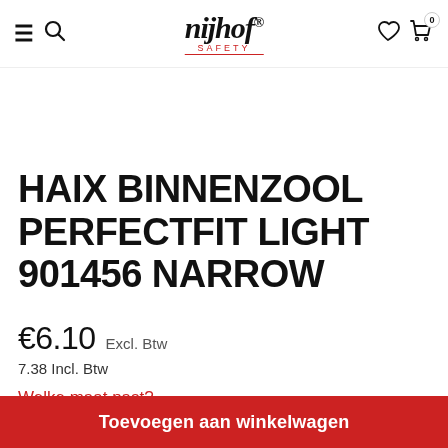Nijhof Safety — navigation header with menu, search, logo, wishlist, cart (0)
HAIX BINNENZOOL PERFECTFIT LIGHT 901456 NARROW
€6.10 Excl. Btw
7.38 Incl. Btw
Welke maat past?
Toevoegen aan winkelwagen